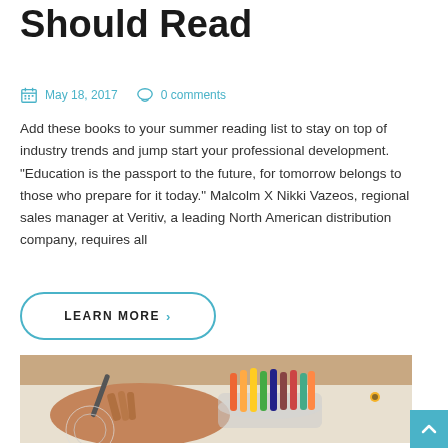Should Read
May 18, 2017   0 comments
Add these books to your summer reading list to stay on top of industry trends and jump start your professional development. "Education is the passport to the future, for tomorrow belongs to those who prepare for it today." Malcolm X Nikki Vazeos, regional sales manager at Veritiv, a leading North American distribution company, requires all
LEARN MORE ›
[Figure (photo): Child's hand holding a crayon/pencil drawing, with a glass jar full of colorful crayons beside it on a white surface]